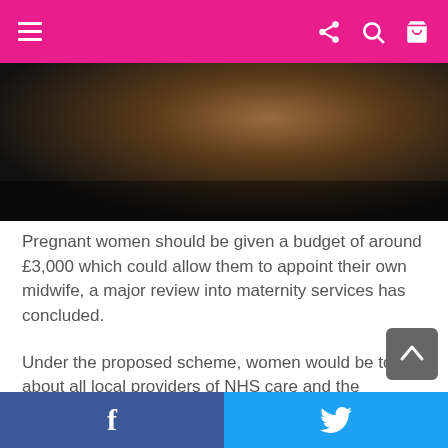Navigation bar with menu, share, search, and cart icons
[Figure (photo): Dark-toned close-up photo of a pregnant woman, dimly lit background]
Pregnant women should be given a budget of around £3,000 which could allow them to appoint their own midwife, a major review into maternity services has concluded.
Under the proposed scheme, women would be told about all local providers of NHS care and the services they offer – including private companies offering home births, hypnobirthing and acupuncture. They would then be able to make
Facebook share | Twitter share